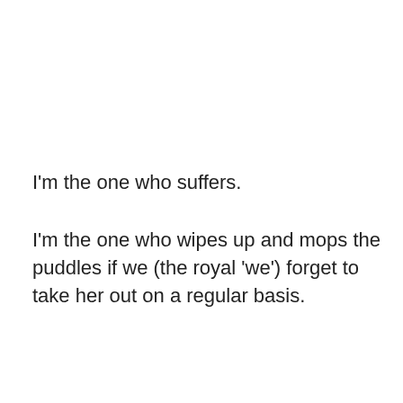I'm the one who suffers.
I'm the one who wipes up and mops the puddles if we (the royal 'we') forget to take her out on a regular basis.